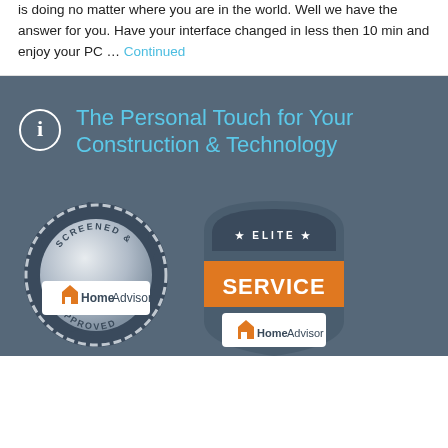is doing no matter where you are in the world. Well we have the answer for you. Have your interface changed in less then 10 min and enjoy your PC … Continued
[Figure (infographic): Dark blue-grey section with info icon and title 'The Personal Touch for Your Construction & Technology', plus two HomeAdvisor badges: 'Screened & Approved' and 'Elite Service']